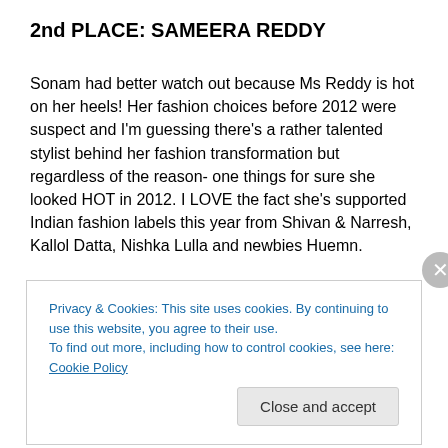2nd PLACE: SAMEERA REDDY
Sonam had better watch out because Ms Reddy is hot on her heels! Her fashion choices before 2012 were suspect and I'm guessing there's a rather talented stylist behind her fashion transformation but regardless of the reason- one things for sure she looked HOT in 2012. I LOVE the fact she's supported Indian fashion labels this year from Shivan & Narresh, Kallol Datta, Nishka Lulla and newbies Huemn.
Privacy & Cookies: This site uses cookies. By continuing to use this website, you agree to their use.
To find out more, including how to control cookies, see here: Cookie Policy
Close and accept